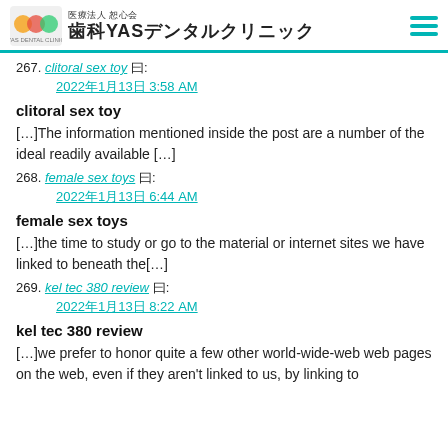医療法人 恕心会 歯科YASデンタルクリニック
267. clitoral sex toy 曰: 2022年1月13日 3:58 AM
clitoral sex toy
[…]The information mentioned inside the post are a number of the ideal readily available […]
268. female sex toys 曰: 2022年1月13日 6:44 AM
female sex toys
[…]the time to study or go to the material or internet sites we have linked to beneath the[…]
269. kel tec 380 review 曰: 2022年1月13日 8:22 AM
kel tec 380 review
[…]we prefer to honor quite a few other world-wide-web web pages on the web, even if they aren't linked to us, by linking to